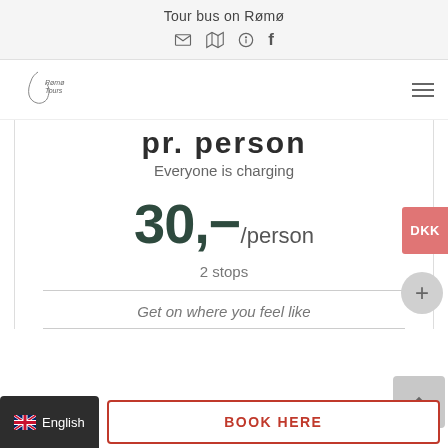Tour bus on Rømø
pr. person
Everyone is charging
30,- /person
2 stops
Get on where you feel like
English
BOOK HERE